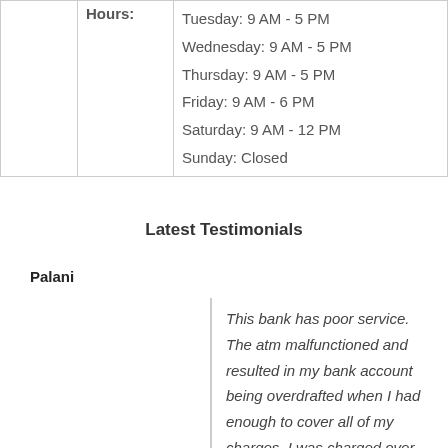|  | Hours: |  |
| --- | --- | --- |
|  | Tuesday: 9 AM - 5 PM
Wednesday: 9 AM - 5 PM
Thursday: 9 AM - 5 PM
Friday: 9 AM - 6 PM
Saturday: 9 AM - 12 PM
Sunday: Closed |  |
Latest Testimonials
Palani
This bank has poor service. The atm malfunctioned and resulted in my bank account being overdrafted when I had enough to cover all of my charges. I was charged over 150 dollars worth of overdraft fees due to a bank error